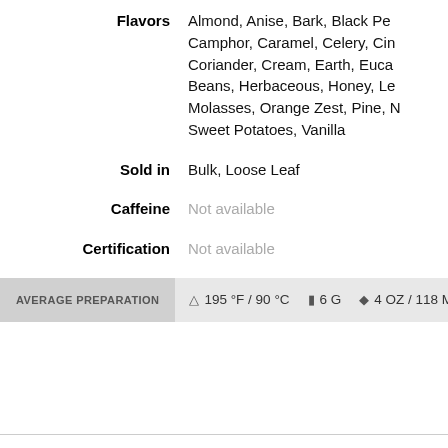Flavors: Almond, Anise, Bark, Black Pepper, Camphor, Caramel, Celery, Cinnamon, Coriander, Cream, Earth, Eucalyptus, Green Beans, Herbaceous, Honey, Lemon, Molasses, Orange Zest, Pine, ..., Sweet Potatoes, Vanilla
Sold in: Bulk, Loose Leaf
Caffeine: Not available
Certification: Not available
AVERAGE PREPARATION  195 °F / 90 °C  6 G  4 OZ / 118 ML
From Our Community